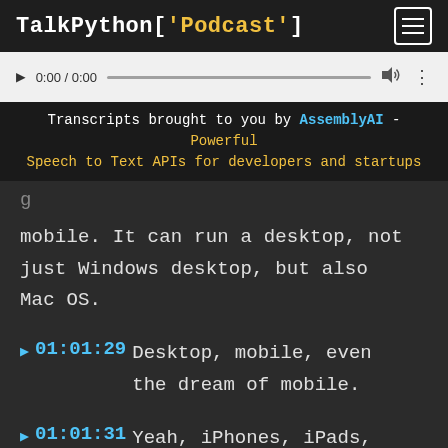TalkPython['Podcast']
[Figure (screenshot): Audio player control with play button, time display 0:00 / 0:00, progress bar, volume and more icons]
Transcripts brought to you by AssemblyAI - Powerful Speech to Text APIs for developers and startups
mobile. It can run a desktop, not just Windows desktop, but also Mac OS.
▶ 01:01:29 Desktop, mobile, even the dream of mobile.
▶ 01:01:31 Yeah, iPhones, iPads,